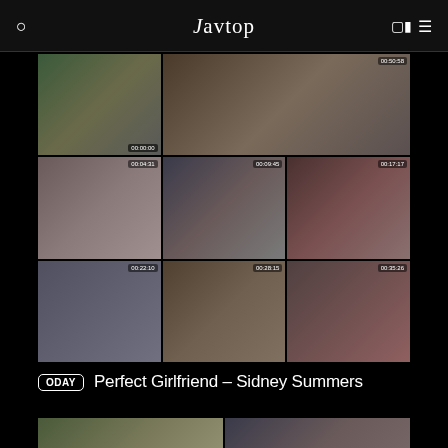Javtop
[Figure (screenshot): 3x3 grid of video thumbnails for 'Perfect Girlfriend - Sidney Summers' video preview]
ODAY  Perfect Girlfriend – Sidney Summers
[Figure (screenshot): Two video thumbnails showing kitchen scene, partial view of second video entry]